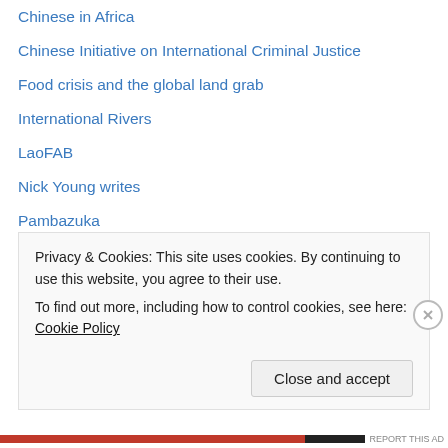Chinese in Africa
Chinese Initiative on International Criminal Justice
Food crisis and the global land grab
International Rivers
LaoFAB
Nick Young writes
Pambazuka
The China Beat
The National Bureau of Asian Research (NBR)
Categories
Africa
Privacy & Cookies: This site uses cookies. By continuing to use this website, you agree to their use.
To find out more, including how to control cookies, see here: Cookie Policy
Close and accept